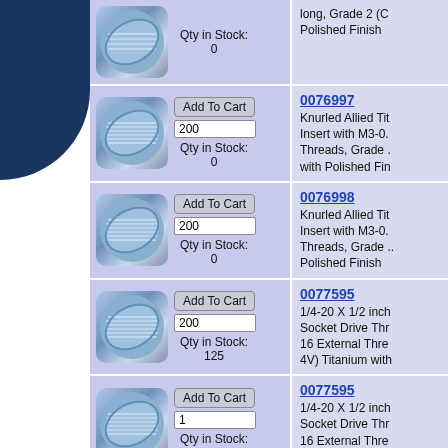| Product Image / Cart | Product Info |
| --- | --- |
| Add To Cart | 0 | Qty in Stock: 0 | long, Grade 2 (C... Polished Finish |
| Add To Cart | 200 | Qty in Stock: 0 | 0076997
Knurled Allied Tit... Insert with M3-0... Threads, Grade ... with Polished Fin... |
| Add To Cart | 200 | Qty in Stock: 0 | 0076998
Knurled Allied Tit... Insert with M3-0... Threads, Grade ... Polished Finish |
| Add To Cart | 200 | Qty in Stock: 125 | 0077595
1/4-20 X 1/2 inch... Socket Drive Thr... 16 External Thre... 4V) Titanium with... |
| Add To Cart | 1 | Qty in Stock: 0 | 0077595
1/4-20 X 1/2 inch... Socket Drive Thr... 16 External Thre... 4V) Titanium with... |